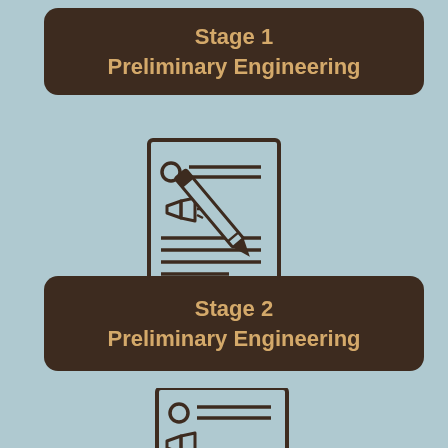[Figure (infographic): Dark brown rounded rectangle label reading Stage 1 Preliminary Engineering in tan/gold text]
[Figure (illustration): Icon of a document/report page with lines of text, a megaphone/announcement icon, and a pencil overlay, drawn in dark brown on light blue background]
[Figure (infographic): Dark brown rounded rectangle label reading Stage 2 Preliminary Engineering in tan/gold text]
[Figure (illustration): Partial icon of a document/report page with a circular chart and lines of text, partially visible at bottom of page, drawn in dark brown]